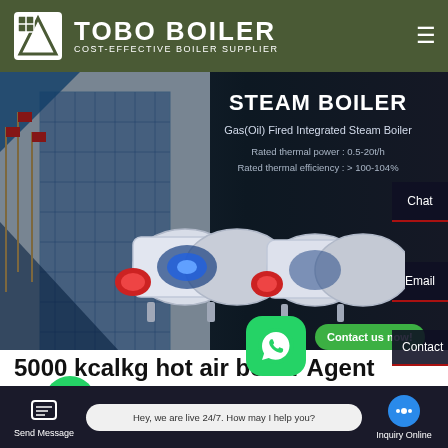[Figure (screenshot): Tobo Boiler website screenshot showing logo header, steam boiler hero banner with product image, and page content including 5000 kcal/kg hot air boiler agent heading and UI elements]
TOBO BOILER — COST-EFFECTIVE BOILER SUPPLIER
STEAM BOILER
Gas(Oil) Fired Integrated Steam Boiler
Rated thermal power : 0.5-20t/h
Rated thermal efficiency : > 100-104%
5000 kcalkg hot air boiler Agent
Hey, we are live 24/7. How may I help you?
Send Message    Inquiry Online